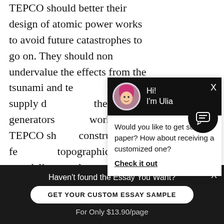TEPCO should better their design of atomic power works to avoid future catastrophes to go on. They should non undervalue the effects from the tsunami and te[mporary...] should supply d[ependable...] the generators [for the power] works. TEPCO sh[ould consider] constructing fe[w plants in] topographic poi[nts that are] delicate and ear[thquake-prone in this] country. Chiefly,
[Figure (screenshot): Chat widget popup with avatar of a woman with pink hair, header 'Hi! I'm Ulia' on black background, body text 'Would you like to get such a paper? How about receiving a customized one? Check it out' with close X button. Also a round black chat bubble button icon at bottom right.]
Haven't found the Essay You Want?
GET YOUR CUSTOM ESSAY SAMPLE
For Only $13.90/page